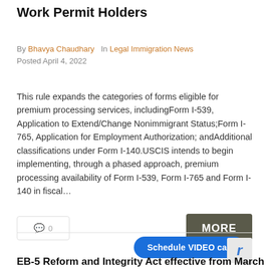Work Permit Holders
By Bhavya Chaudhary   In Legal Immigration News
Posted April 4, 2022
This rule expands the categories of forms eligible for premium processing services, includingForm I-539, Application to Extend/Change Nonimmigrant Status;Form I-765, Application for Employment Authorization; andAdditional classifications under Form I-140.USCIS intends to begin implementing, through a phased approach, premium processing availability of Form I-539, Form I-765 and Form I-140 in fiscal...
EB-5 Reform and Integrity Act effective from March